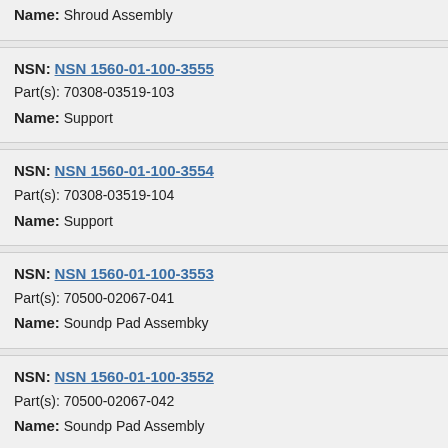Name: Shroud Assembly
NSN: NSN 1560-01-100-3555
Part(s): 70308-03519-103
Name: Support
NSN: NSN 1560-01-100-3554
Part(s): 70308-03519-104
Name: Support
NSN: NSN 1560-01-100-3553
Part(s): 70500-02067-041
Name: Soundp Pad Assembky
NSN: NSN 1560-01-100-3552
Part(s): 70500-02067-042
Name: Soundp Pad Assembly
NSN: NSN 1560-01-100-3539
Part(s): 70551-01022-041
Name: No Bracket Assembly